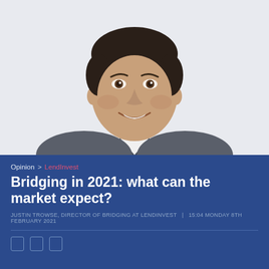[Figure (photo): Professional headshot of a young man with dark hair in a grey suit and white shirt, smiling, against a light grey background.]
Opinion > LendInvest
Bridging in 2021: what can the market expect?
JUSTIN TROWSE, DIRECTOR OF BRIDGING AT LENDINVEST  |  15:04 MONDAY 8TH FEBRUARY 2021